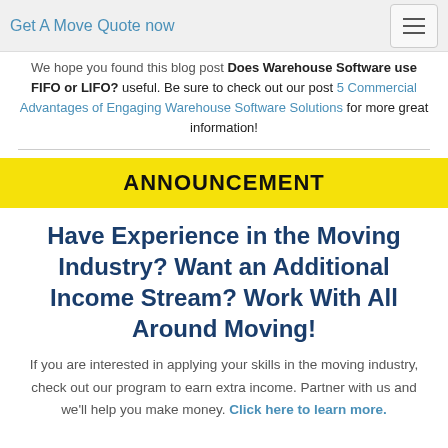Get A Move Quote now
We hope you found this blog post Does Warehouse Software use FIFO or LIFO? useful. Be sure to check out our post 5 Commercial Advantages of Engaging Warehouse Software Solutions for more great information!
ANNOUNCEMENT
Have Experience in the Moving Industry? Want an Additional Income Stream? Work With All Around Moving!
If you are interested in applying your skills in the moving industry, check out our program to earn extra income. Partner with us and we'll help you make money. Click here to learn more.